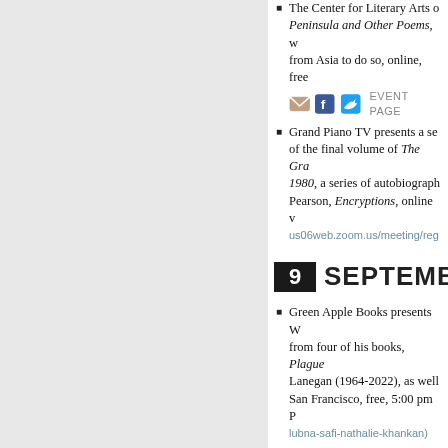The Center for Literary Arts on the Peninsula and Other Poems, with poets from Asia to do so, online, free
Grand Piano TV presents a session of the final volume of The Grand Piano 1980, a series of autobiographical Pearson, Encryptions, online via us06web.zoom.us/meeting/reg
9 SEPTEMBER
Green Apple Books presents W from four of his books, Plague Lanegan (1964-2022), as well San Francisco, free, 5:00 pm lubna-safi-nathalie-khankan)
10 SEPTEMBER
No events listed for this date.
11 SEPTEMBER
Omnidawn presents "Breaking focusing on breaking formal tra and features a different specia sliding scale $750-$1000, onli Noon PDT, and section two ru